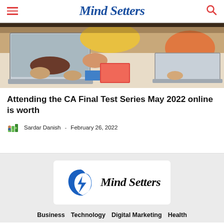Mind Setters
[Figure (photo): Students working on laptops and tablets at a desk, overhead view showing hands and devices]
Attending the CA Final Test Series May 2022 online is worth
Sardar Danish - February 26, 2022
[Figure (logo): Mind Setters logo with blue lightning bolt head icon and italic serif text]
Business   Technology   Digital Marketing   Health